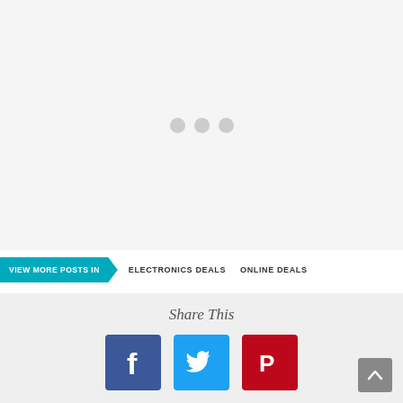[Figure (other): Large light gray content area with three small gray dots centered, representing a loading or placeholder image/slideshow area]
VIEW MORE POSTS IN   ELECTRONICS DEALS   ONLINE DEALS
Share This
[Figure (other): Three social sharing icon buttons: Facebook (blue with f logo), Twitter (cyan with bird logo), Pinterest (red with P logo)]